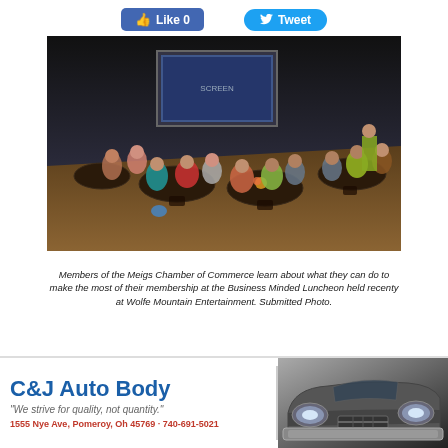[Figure (other): Facebook Like button showing 'Like 0' and Twitter Tweet button]
[Figure (photo): Members of the Meigs Chamber of Commerce seated at round tables in a large hall with a projection screen, attending the Business Minded Luncheon at Wolfe Mountain Entertainment.]
Members of the Meigs Chamber of Commerce learn about what they can do to make the most of their membership at the Business Minded Luncheon held recenty at Wolfe Mountain Entertainment. Submitted Photo.
[Figure (other): C&J Auto Body advertisement. 'We strive for quality, not quantity.' 1555 Nye Ave, Pomeroy, Oh 45769 · 740-691-5021. Features image of a classic car front grill.]